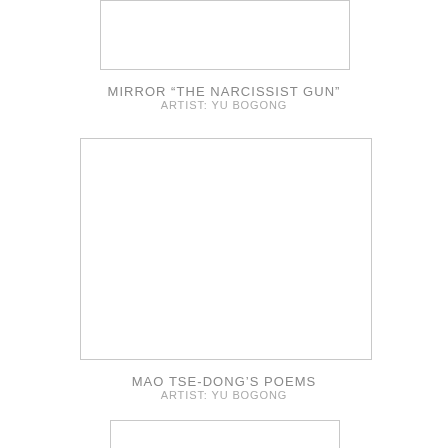[Figure (other): Partial artwork image box cropped at top of page]
MIRROR “THE NARCISSIST GUN”
ARTIST: YU BOGONG
[Figure (other): Blank white artwork image placeholder box]
MAO TSE-DONG’S POEMS
ARTIST: YU BOGONG
[Figure (other): Partial artwork image box cropped at bottom of page]